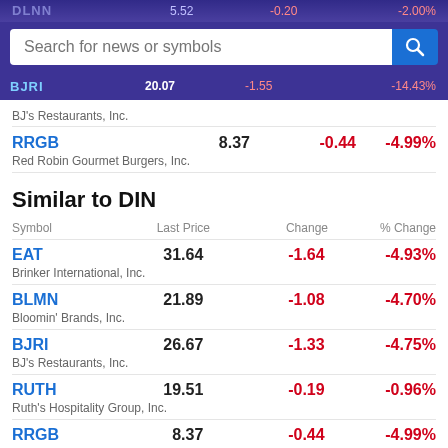| Symbol | Last Price | Change | % Change |
| --- | --- | --- | --- |
| RRGB | 8.37 | -0.44 | -4.99% |
| EAT | 31.64 | -1.64 | -4.93% |
| BLMN | 21.89 | -1.08 | -4.70% |
| BJRI | 26.67 | -1.33 | -4.75% |
| RUTH | 19.51 | -0.19 | -0.96% |
| RRGB | 8.37 | -0.44 | -4.99% |